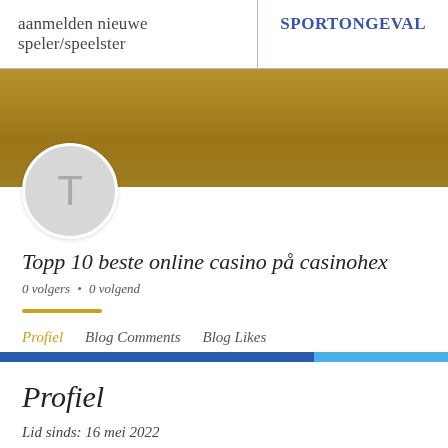aanmelden nieuwe speler/speelster | SPORTONGEVAL
[Figure (illustration): Gold/dark yellow banner background with circular avatar placeholder showing letter T]
Topp 10 beste online casino på casinohex
0 volgers • 0 volgend
Profiel
Blog Comments
Blog Likes
Profiel
Lid sinds: 16 mei 2022